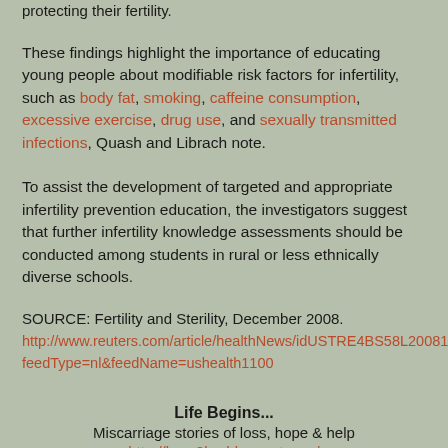protecting their fertility.
These findings highlight the importance of educating young people about modifiable risk factors for infertility, such as body fat, smoking, caffeine consumption, excessive exercise, drug use, and sexually transmitted infections, Quash and Librach note.
To assist the development of targeted and appropriate infertility prevention education, the investigators suggest that further infertility knowledge assessments should be conducted among students in rural or less ethnically diverse schools.
SOURCE: Fertility and Sterility, December 2008.
http://www.reuters.com/article/healthNews/idUSTRE4BS58L20081229?feedType=nl&feedName=ushealth1100
Life Begins...
Miscarriage stories of loss, hope & help
http://born2luv.blogspot.com/